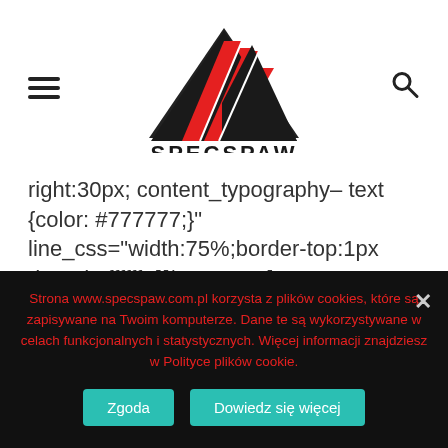[Figure (logo): SPECSPAW logo: triangle shape with red and black diagonal stripes, text SPECSPAW below in bold black]
right:30px; content_typography– text {color: #777777;} line_css="width:75%;border-top:1px dotted #ffffff;"][/separator]
[text tag="p"]
zadaszeń[/text]
Strona www.specspaw.com.pl korzysta z plików cookies, które są zapisywane na Twoim komputerze. Dane te są wykorzystywane w celach funkcjonalnych i statystycznych. Więcej informacji znajdziesz w Polityce plików cookie.